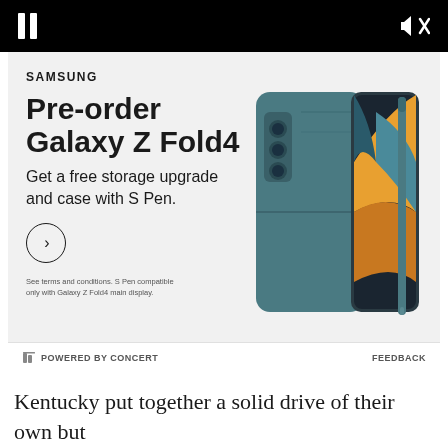[Figure (screenshot): Black video player bar with white pause icon (two vertical bars) on the left and muted speaker icon on the right]
[Figure (photo): Samsung Galaxy Z Fold4 advertisement. Shows the folded phone in teal/green color with S Pen stylus. Text reads: SAMSUNG, Pre-order Galaxy Z Fold4, Get a free storage upgrade and case with S Pen. Circle arrow button. Fine print: See terms and conditions. S Pen compatible only with Galaxy Z Fold4 main display.]
POWERED BY CONCERT    FEEDBACK
Kentucky put together a solid drive of their own but